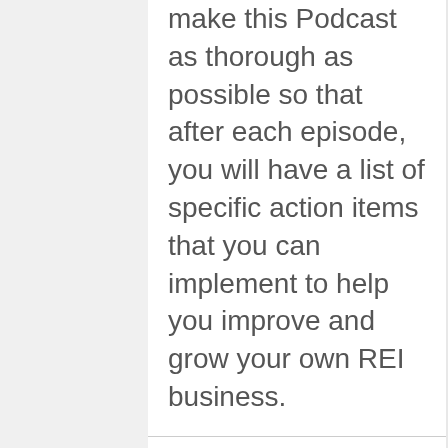make this Podcast as thorough as possible so that after each episode, you will have a list of specific action items that you can implement to help you improve and grow your own REI business.
Associations
[Figure (logo): Houzz logo: green arrow/chevron icon followed by the word 'houzz' in gray sans-serif text]
[Figure (logo): NAHB logo: house outline with red roof and blue walls, letters NAHB inside, beside text reading 'National Association of Home']